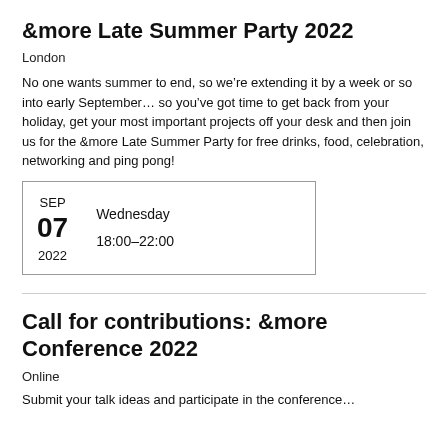&more Late Summer Party 2022
London
No one wants summer to end, so we’re extending it by a week or so into early September… so you’ve got time to get back from your holiday, get your most important projects off your desk and then join us for the &more Late Summer Party for free drinks, food, celebration, networking and ping pong!
| SEP
07
2022 | Wednesday
18:00–22:00 |
Call for contributions: &more Conference 2022
Online
Submit your talk ideas and participate in the conference...